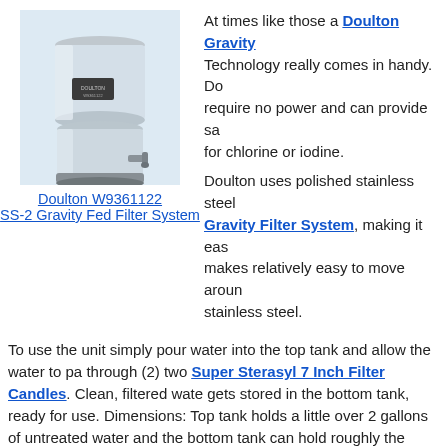[Figure (photo): Doulton W9361122 SS-2 Gravity Fed Filter System - stainless steel gravity water filter with two chambers and a spigot]
Doulton W9361122
SS-2 Gravity Fed Filter System
At times like those a Doulton Gravity Technology really comes in handy. Do require no power and can provide sa for chlorine or iodine.
Doulton uses polished stainless steel Gravity Filter System, making it eas makes relatively easy to move aroun stainless steel.
To use the unit simply pour water into the top tank and allow the water to pa through (2) two Super Sterasyl 7 Inch Filter Candles. Clean, filtered wate gets stored in the bottom tank, ready for use. Dimensions: Top tank holds a little over 2 gallons of untreated water and the bottom tank can hold roughly the same volume of filtered water.
What gets removed from the water? So glad you asked! The manufacturer makes the following claims about its Sterasyl-based water filter product:
99.99% Cysts (i.e. Cryptosporidium, Giardia, etc.)
99.99% Particulates (i.e. Rust & Sediment Creating Turbidity)